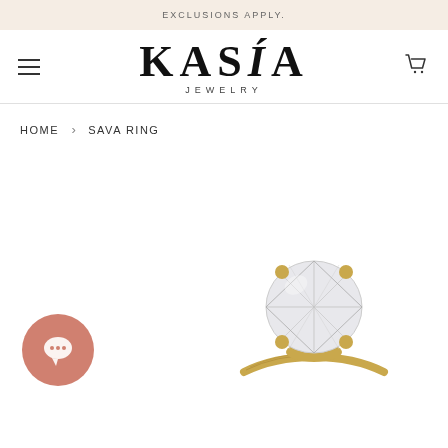EXCLUSIONS APPLY.
[Figure (logo): KASIA JEWELRY logo with hamburger menu and cart icon]
HOME › SAVA RING
[Figure (photo): Sava Ring — diamond solitaire ring in yellow gold with milgrain band, displayed from above on white background. Chat bubble icon with speech balloon in coral/salmon color on bottom left.]